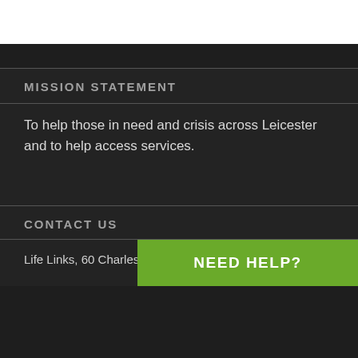MISSION STATEMENT
To help those in need and crisis across Leicester and to help access services.
CONTACT US
Life Links, 60 Charles Street
NEED HELP?